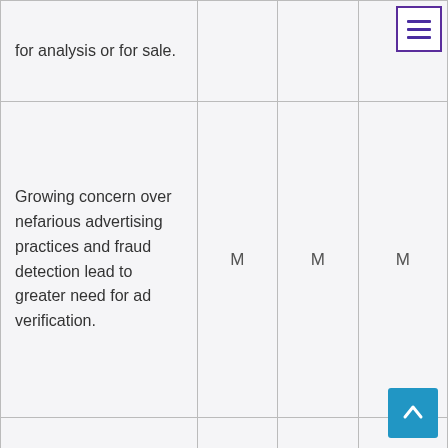| for analysis or for sale. |  |  |  |
| Growing concern over nefarious advertising practices and fraud detection lead to greater need for ad verification. | M | M | M |
| Increasing awareness of IPPN use cases will... |  |  |  |